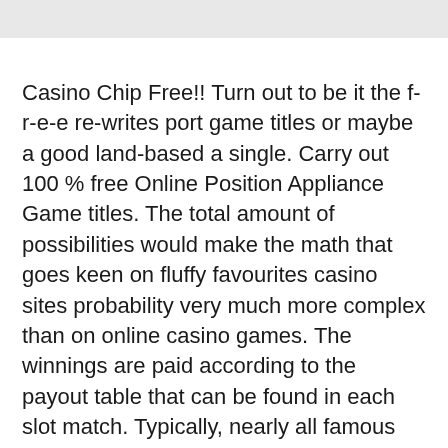[Figure (other): Gray header bar at top of page]
Casino Chip Free!! Turn out to be it the f-r-e-e re-writes port game titles or maybe a good land-based a single. Carry out 100 % free Online Position Appliance Game titles. The total amount of possibilities would make the math that goes keen on fluffy favourites casino sites probability very much more complex than on online casino games. The winnings are paid according to the payout table that can be found in each slot match. Typically, nearly all famous games like Dark Jack, Poker, Bingo, and Baccarat will exist. We have a variety of Gambling establishment video games to choose from and you will be spoilt for ction